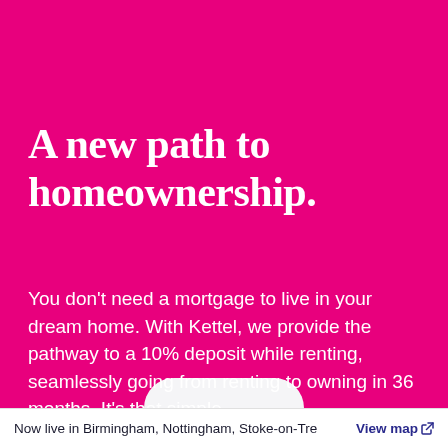A new path to homeownership.
You don’t need a mortgage to live in your dream home. With Kettel, we provide the pathway to a 10% deposit while renting, seamlessly going from renting to owning in 36 months. It’s that simple.
Now live in Birmingham, Nottingham, Stoke-on-Tre  View map ↗